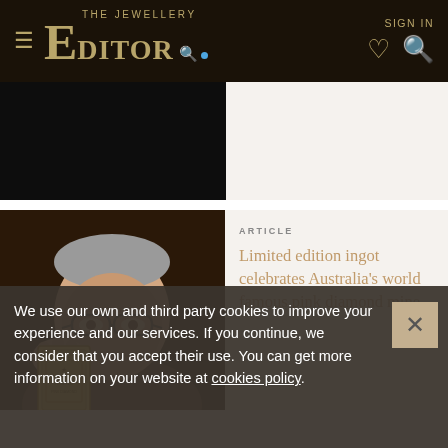THE JEWELLERY EDITOR — SIGN IN
[Figure (photo): Dark/black rectangle image strip at the top left of the page, partially visible article photo]
[Figure (photo): Man holding a gold ingot/bar with glasses, close-up portrait photo]
ARTICLE
Limited edition ingot celebrates Australia's world famous pink diamond mine
We use our own and third party cookies to improve your experience and our services. If you continue, we consider that you accept their use. You can get more information on your website at cookies policy.